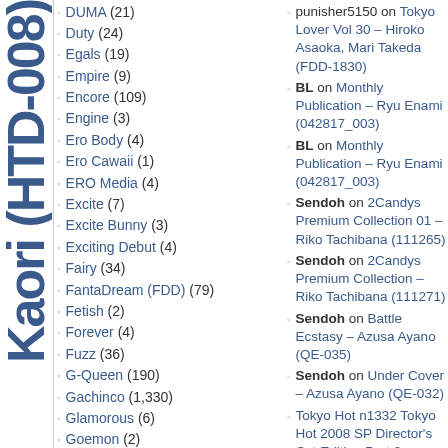DUMA (21)
Duty (24)
Egals (19)
Empire (9)
Encore (109)
Engine (3)
Ero Body (4)
Ero Cawaii (1)
ERO Media (4)
Excite (7)
Excite Bunny (3)
Exciting Debut (4)
Fairy (34)
FantaDream (FDD) (79)
Fetish (2)
Forever (4)
Fuzz (36)
G-Queen (190)
Gachinco (1,330)
Glamorous (6)
Goemon (2)
punisher5150 on Tokyo Lover Vol 30 – Hiroko Asaoka, Mari Takeda (FDD-1830)
BL on Monthly Publication – Ryu Enami (042817_003)
BL on Monthly Publication – Ryu Enami (042817_003)
Sendoh on 2Candys Premium Collection 01 – Riko Tachibana (111265)
Sendoh on 2Candys Premium Collection – Riko Tachibana (111271)
Sendoh on Battle Ecstasy – Azusa Ayano (QE-035)
Sendoh on Under Cover – Azusa Ayano (QE-032)
Tokyo Hot n1332 Tokyo Hot 2008 SP Director's Cut Edition Part 2 « Uncensored JAV Collection | – cyoutie.com on Tokyo Hot